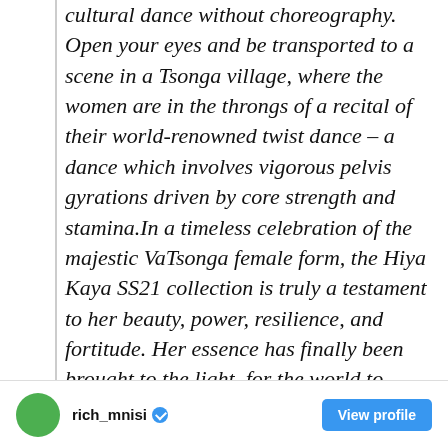cultural dance without choreography. Open your eyes and be transported to a scene in a Tsonga village, where the women are in the throngs of a recital of their world-renowned twist dance – a dance which involves vigorous pelvis gyrations driven by core strength and stamina.In a timeless celebration of the majestic VaTsonga female form, the Hiya Kaya SS21 collection is truly a testament to her beauty, power, resilience, and fortitude. Her essence has finally been brought to the light, for the world to marvel and draw inspiration. We are honoured to have been entrusted to tell her story through wearable art.
rich_mnisi  View profile